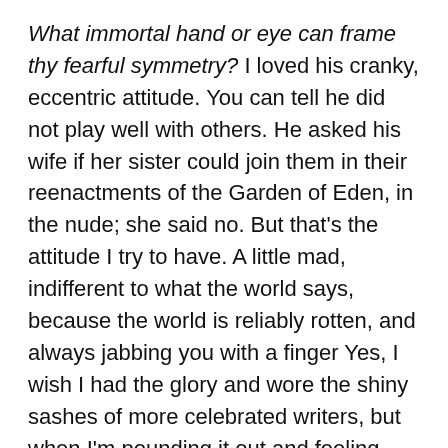What immortal hand or eye can frame thy fearful symmetry? I loved his cranky, eccentric attitude. You can tell he did not play well with others. He asked his wife if her sister could join them in their reenactments of the Garden of Eden, in the nude; she said no. But that's the attitude I try to have. A little mad, indifferent to what the world says, because the world is reliably rotten, and always jabbing you with a finger Yes, I wish I had the glory and wore the shiny sashes of more celebrated writers, but when I'm pounding it out and feeling good about a story, like it has power to change a person's mindset or mood, that's pretty glorious, too.
If you've seen my website, my book site, or my video site, you see the volume of stuff I have been extruding. I published a 500+ page chapbook of